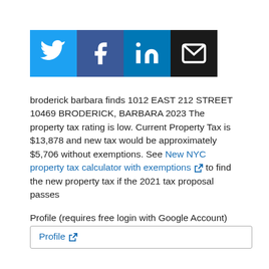[Figure (other): Social sharing buttons: Twitter, Facebook, LinkedIn, Email]
broderick barbara finds 1012 EAST 212 STREET 10469 BRODERICK, BARBARA 2023 The property tax rating is low. Current Property Tax is $13,878 and new tax would be approximately $5,706 without exemptions. See New NYC property tax calculator with exemptions [external link] to find the new property tax if the 2021 tax proposal passes
Profile (requires free login with Google Account)
Profile [external link]